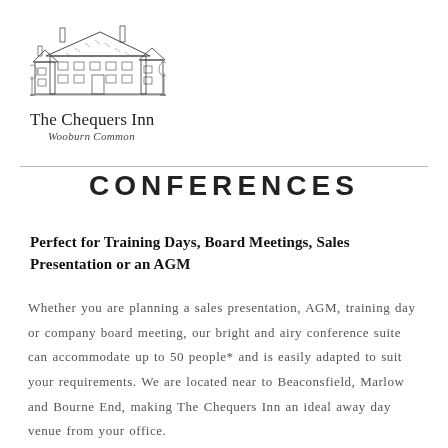[Figure (logo): Illustration of The Chequers Inn building, a detailed pen-and-ink style drawing of a traditional English inn]
The Chequers Inn
Wooburn Common
CONFERENCES
Perfect for Training Days, Board Meetings, Sales Presentation or an AGM
Whether you are planning a sales presentation, AGM, training day or company board meeting, our bright and airy conference suite can accommodate up to 50 people* and is easily adapted to suit your requirements. We are located near to Beaconsfield, Marlow and Bourne End, making The Chequers Inn an ideal away day venue from your office.